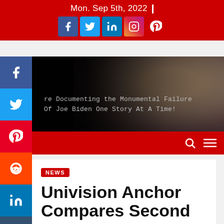Mon. Sep 5th, 2022
[Figure (screenshot): Social media share icons: Facebook, Twitter, LinkedIn, Instagram, Pinterest on red background]
[Figure (photo): Dark hero banner with Joe Biden photo on right and text: 're Documenting the Monumental Failure Of Joe Biden One Story At A Time!']
[Figure (screenshot): Red navigation bar with search and hamburger menu icons]
[Figure (screenshot): Left sidebar with social share icons: Facebook, Twitter, Pinterest, Reddit, LinkedIn, Tumblr]
NEWS
Univision Anchor Compares Second